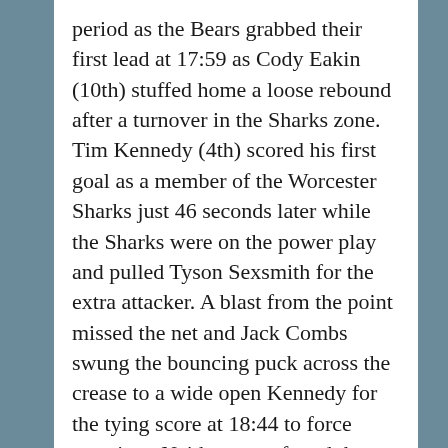period as the Bears grabbed their first lead at 17:59 as Cody Eakin (10th) stuffed home a loose rebound after a turnover in the Sharks zone. Tim Kennedy (4th) scored his first goal as a member of the Worcester Sharks just 46 seconds later while the Sharks were on the power play and pulled Tyson Sexsmith for the extra attacker. A blast from the point missed the net and Jack Combs swung the bouncing puck across the crease to a wide open Kennedy for the tying score at 18:44 to force overtime. Neither team found the back of the net in overtime or the first six rounds of the shootout. Brodie Reid scored for the Sharks in round 7 and Patrick McNeill was stopped by Sexsmith to seal the 3-2 victory. Worcester's record improves to 22-15-4-5 (53pts in 46gp) and 12-6-4-3 on the road.